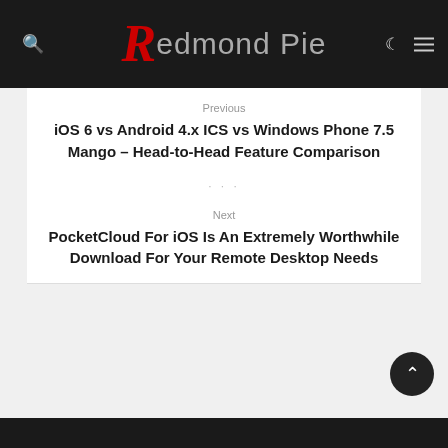Redmond Pie
Previous
iOS 6 vs Android 4.x ICS vs Windows Phone 7.5 Mango – Head-to-Head Feature Comparison
Next
PocketCloud For iOS Is An Extremely Worthwhile Download For Your Remote Desktop Needs